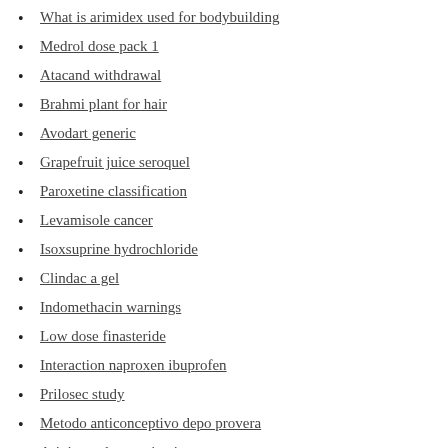What is arimidex used for bodybuilding
Medrol dose pack 1
Atacand withdrawal
Brahmi plant for hair
Avodart generic
Grapefruit juice seroquel
Paroxetine classification
Levamisole cancer
Isoxsuprine hydrochloride
Clindac a gel
Indomethacin warnings
Low dose finasteride
Interaction naproxen ibuprofen
Prilosec study
Metodo anticonceptivo depo provera
Aripiprazole constipation
Kalyanam tulasi kalyanam kannada song